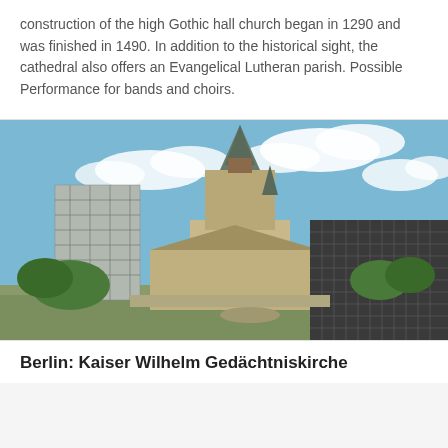construction of the high Gothic hall church began in 1290 and was finished in 1490. In addition to the historical sight, the cathedral also offers an Evangelical Lutheran parish. Possible Performance for bands and choirs.
[Figure (photo): Aerial/elevated view of the Kaiser Wilhelm Gedächtniskirche in Berlin, showing the damaged historic church tower with Gothic architecture and ornate detailing, a construction scaffold building behind it, and a modern dark cube-shaped annex to the right. Blue sky with clouds in the background, green trees at the base.]
Berlin: Kaiser Wilhelm Gedächtniskirche